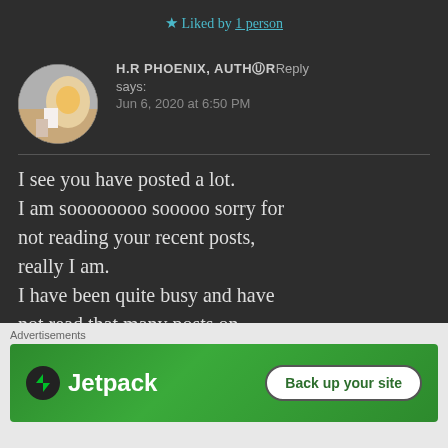★ Liked by 1 person
H.R PHOENIX, AUTHOR Reply says: Jun 6, 2020 at 6:50 PM
I see you have posted a lot. I am soooooooo sooooo sorry for not reading your recent posts, really I am. I have been quite busy and have not read that many posts on other people's blogs.
[Figure (photo): Circular avatar image showing a cat's paw being held by a human hand]
Advertisements
[Figure (screenshot): Jetpack advertisement banner with 'Back up your site' button]